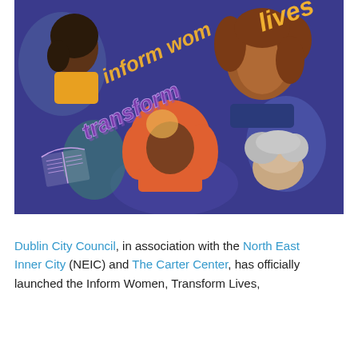[Figure (illustration): Colorful illustrated poster with a dark blue/purple background showing four diverse women of different ethnicities and ages. Text on the poster reads 'inform women lives' and 'transform' in large stylized lettering in yellow/gold and purple. An illustrated open book is visible in the lower left corner.]
Dublin City Council, in association with the North East Inner City (NEIC) and The Carter Center, has officially launched the Inform Women, Transform Lives,